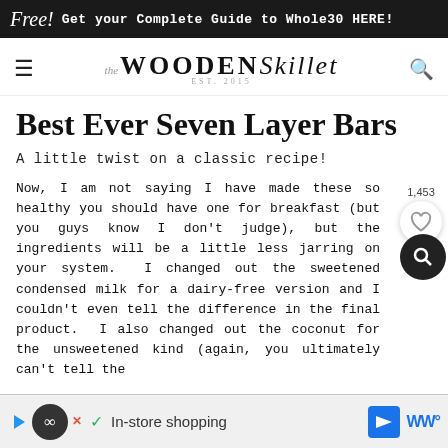Free! Get your Complete Guide to Whole30 HERE!
The Wooden Skillet EST. 2015
Best Ever Seven Layer Bars
A little twist on a classic recipe!
Now, I am not saying I have made these so healthy you should have one for breakfast (but you guys know I don't judge), but the ingredients will be a little less jarring on your system.  I changed out the sweetened condensed milk for a dairy-free version and I couldn't even tell the difference in the final product.  I also changed out the coconut for the unsweetened kind (again, you ultimately can't tell the difference...
[Figure (infographic): Bottom advertisement bar with shopping icons and In-store shopping text]